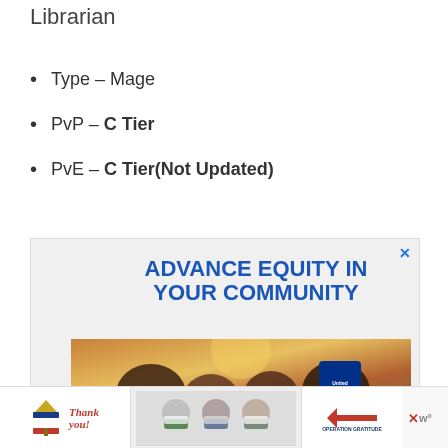Librarian
Type – Mage
PvP – C Tier
PvE – C Tier(Not Updated)
[Figure (photo): Advertisement banner: 'ADVANCE EQUITY IN YOUR COMMUNITY' with United Way branding and photo of smiling diverse family]
[Figure (photo): Bottom advertisement bar: 'Thank you!' with flag pencil and Operation Gratitude logo, alongside photo of masked healthcare workers]